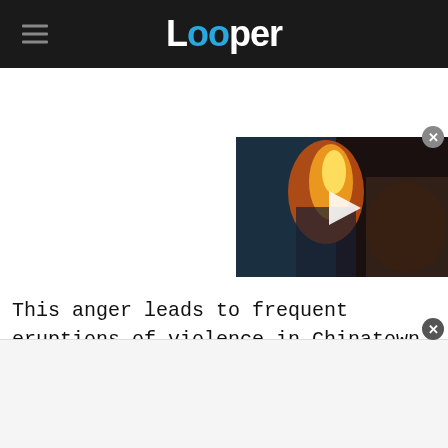Looper
[Figure (screenshot): Video player thumbnail showing a dark scene with orange flame and a play button overlay]
This anger leads to frequent eruptions of violence in Chinatown, which causes a headache for San